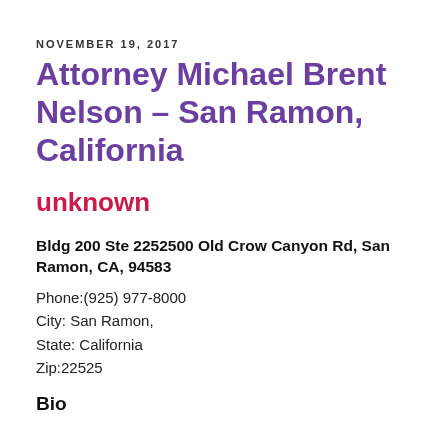NOVEMBER 19, 2017
Attorney Michael Brent Nelson – San Ramon, California
unknown
Bldg 200 Ste 2252500 Old Crow Canyon Rd, San Ramon, CA, 94583
Phone:(925) 977-8000
City: San Ramon,
State: California
Zip:22525
Bio